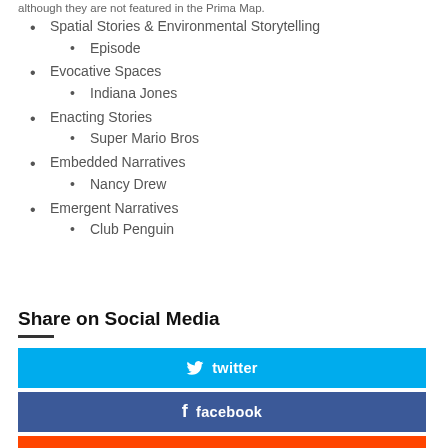although they are not featured in the Prima Map.
Spatial Stories & Environmental Storytelling
Episode
Evocative Spaces
Indiana Jones
Enacting Stories
Super Mario Bros
Embedded Narratives
Nancy Drew
Emergent Narratives
Club Penguin
Share on Social Media
[Figure (infographic): Twitter share button (blue, #00aced) with bird icon and label 'twitter']
[Figure (infographic): Facebook share button (dark blue, #3b5998) with 'f' icon and label 'facebook']
[Figure (infographic): Reddit share button (red, #ff4500) partially visible at bottom]